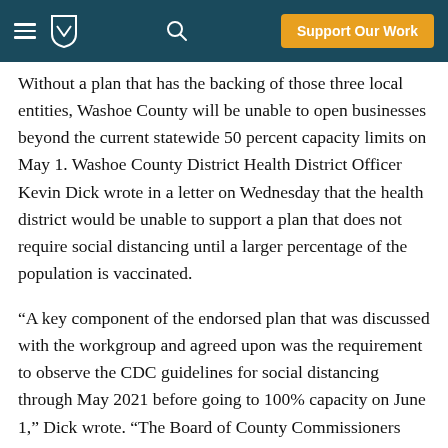Support Our Work
Without a plan that has the backing of those three local entities, Washoe County will be unable to open businesses beyond the current statewide 50 percent capacity limits on May 1. Washoe County District Health District Officer Kevin Dick wrote in a letter on Wednesday that the health district would be unable to support a plan that does not require social distancing until a larger percentage of the population is vaccinated.
“A key component of the endorsed plan that was discussed with the workgroup and agreed upon was the requirement to observe the CDC guidelines for social distancing through May 2021 before going to 100% capacity on June 1,” Dick wrote. “The Board of County Commissioners eliminated that requirement.”
The issue, in part, surfaced on Tuesday as the Washoe County